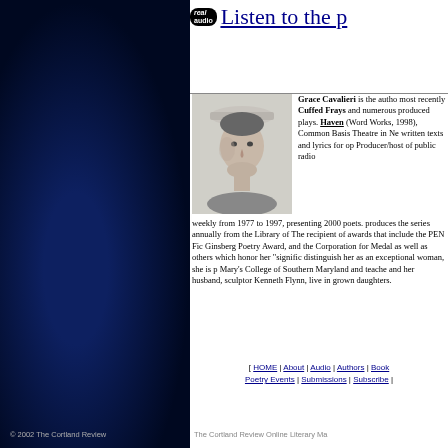[Figure (logo): RealAudio logo oval with 'real audio' text]
Listen to the p
Grace Cavalieri is the author of most recently Cuffed Frays and numerous produced plays. Haven (Word Works, 1998), Common Basis Theatre in Ne written texts and lyrics for op Producer/host of public radio weekly from 1977 to 1997, presenting 2000 poets. produces the series annually from the Library of The recipient of awards that include the PEN Fic Ginsberg Poetry Award, and the Corporation for Medal as well as others which honor her "signific distinguish her as an exceptional woman, she is p Mary's College of Southern Maryland and teache and her husband, sculptor Kenneth Flynn, live in grown daughters.
[Figure (photo): Black and white portrait photo of Grace Cavalieri wearing a hat]
[ HOME | About | Audio | Authors | Book Poetry Events | Submissions | Subscribe |
© 2002 The Cortland Review
The Cortland Review Online Literary Ma